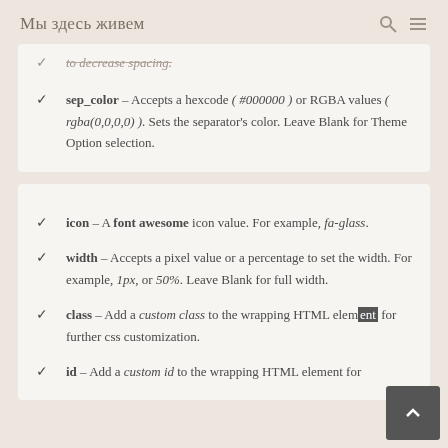Мы здесь живем
to decrease spacing. (continuation/cut off)
sep_color – Accepts a hexcode (#000000) or RGBA values (rgba(0,0,0,0)). Sets the separator's color. Leave Blank for Theme Option selection.
icon – A font awesome icon value. For example, fa-glass.
width – Accepts a pixel value or a percentage to set the width. For example, 1px, or 50%. Leave Blank for full width.
class – Add a custom class to the wrapping HTML element for further css customization.
id – Add a custom id to the wrapping HTML element for